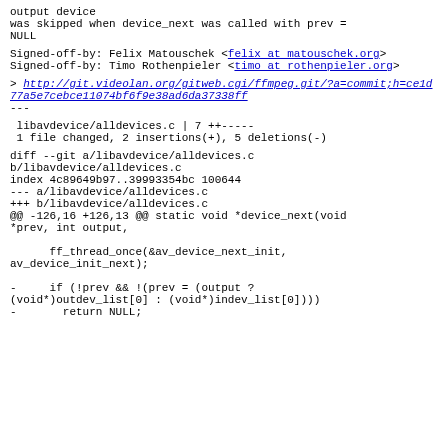output device
was skipped when device_next was called with prev =
NULL
Signed-off-by: Felix Matouschek <felix at matouschek.org>
Signed-off-by: Timo Rothenpieler <timo at rothenpieler.org>
> http://git.videolan.org/gitweb.cgi/ffmpeg.git/?a=commit;h=ce1d77a5e7cebce11074bf6f9e38ad6da37338ff
---
libavdevice/alldevices.c | 7 ++-----
 1 file changed, 2 insertions(+), 5 deletions(-)
diff --git a/libavdevice/alldevices.c b/libavdevice/alldevices.c
index 4c89649b97..39993354bc 100644
--- a/libavdevice/alldevices.c
+++ b/libavdevice/alldevices.c
@@ -126,16 +126,13 @@ static void *device_next(void *prev, int output,

       ff_thread_once(&av_device_next_init, av_device_init_next);

-     if (!prev && !(prev = (output ? (void*)outdev_list[0] : (void*)indev_list[0]))
-       return NULL;